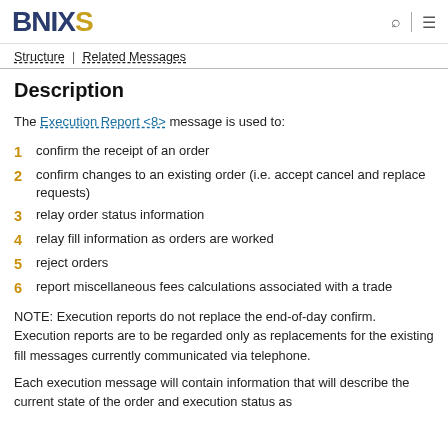BNIXS
Structure | Related Messages
Description
The Execution Report <8> message is used to:
1 confirm the receipt of an order
2 confirm changes to an existing order (i.e. accept cancel and replace requests)
3 relay order status information
4 relay fill information as orders are worked
5 reject orders
6 report miscellaneous fees calculations associated with a trade
NOTE: Execution reports do not replace the end-of-day confirm. Execution reports are to be regarded only as replacements for the existing fill messages currently communicated via telephone.
Each execution message will contain information that will describe the current state of the order and execution status as